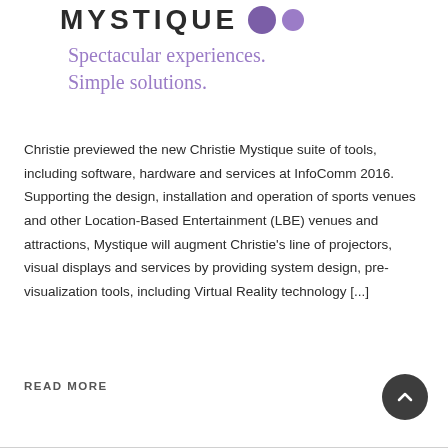MYSTIQUE
Spectacular experiences. Simple solutions.
Christie previewed the new Christie Mystique suite of tools, including software, hardware and services at InfoComm 2016. Supporting the design, installation and operation of sports venues and other Location-Based Entertainment (LBE) venues and attractions, Mystique will augment Christie's line of projectors, visual displays and services by providing system design, pre-visualization tools, including Virtual Reality technology [...]
READ MORE